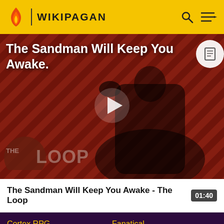WIKIPAGAN
[Figure (screenshot): Video thumbnail showing a dark figure in black cape against a red and black diagonal striped background with 'THE LOOP' text overlay and a play button in the center. Title overlay reads 'The Sandman Will Keep You Awake.']
The Sandman Will Keep You Awake - The Loop
01:40
Cortex RPG
Fanatical
Muthead